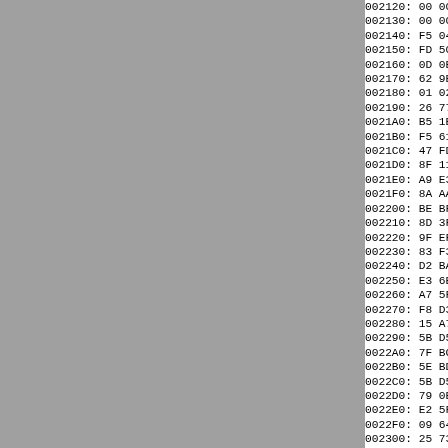[Figure (other): Gray panel on left side of page, approximately 365px wide]
002120: 00 00 00 00 00 00 00 00 00
002130: 00 00 00 00 00 00 00 00 00
002140: F5 04 00 5B 04 55 46 9D D3
002150: FD 50 06 81 E1 D5 3F BB EE
002160: 0D 0E DD 7E 6A 94 B6 B7 FD
002170: 62 9E E5 FE EB 80 D0 ED D4
002180: 01 02 F5 04 26 6E 5F 58 79
002190: 26 77 91 E3 3E 6A AF 58 78
0021A0: B5 1E 2E D5 3F 1E 23 FE AC
0021B0: F5 61 FE 3C 55 53 C7 88 FF
0021C0: 47 FD 58 7F 8F 15 54 F1 E2
0021D0: 8F 11 FF 56 1F E3 C5 55 3C
0021E0: A9 E3 C4 7F D5 87 F8 F1 55
0021F0: 8A AA 78 F1 1F F5 61 FE 3C
002200: BE BF 1B A7 FD 45 83 F3 FC
002210: 8D 3F BC EA 2C 1F 9F E2 5E
002220: 9F EF 3A 8B 07 E7 C6 ED 5D
002230: 83 F3 E3 76 AE FD 7E 37 07
002240: D2 BA 75 F8 DC 1A 4F 3A 8B
002250: E3 6E 69 BC EA B7 A4 A9 6D
002260: A7 5F CF E3 60 6C 3C EA A6
002270: F8 D3 E2 5F 56 1E A3 C6 7A
002280: 15 A7 AF 6A C7 D7 89 78 D7
002290: 5B D5 87 E2 5E 36 01 3A B5
0022A0: 7F BC EA CB EB 7A 4B 6B DA
0022B0: 5E BD AB 27 5E 43 E3 5C 7F
0022C0: 5B D5 77 E2 5E 35 C6 90 4E
0022D0: 79 0E 25 E3 58 69 3C EA B3
0022E0: E2 5F C4 BC 6A CE 09 1D 58
0022F0: 09 64 3F CF 8D 01 FD 33 FC
002300: 25 73 D2 BE A4 BB 5E E7 D3